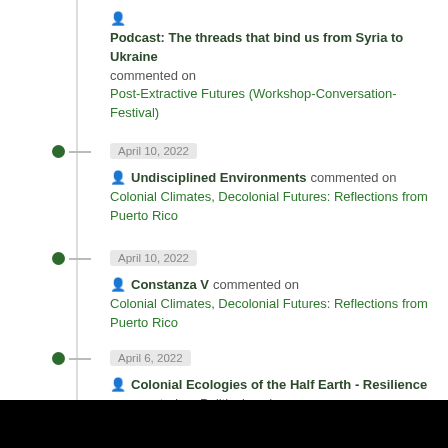Podcast: The threads that bind us from Syria to Ukraine commented on Post-Extractive Futures (Workshop-Conversation-Festival)
April 10, 2022 — Undisciplined Environments commented on Colonial Climates, Decolonial Futures: Reflections from Puerto Rico
April 10, 2022 — Constanza V commented on Colonial Climates, Decolonial Futures: Reflections from Puerto Rico
April 6, 2022 — Colonial Ecologies of the Half Earth - Resilience commented on Political ecology gone wrong